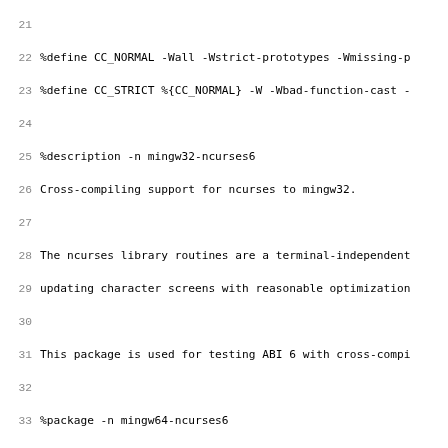Code listing lines 21-52 of an RPM spec file for mingw32/mingw64 ncurses6 package, including %define, %description, %package, %prep directives and CFG_OPTS definition.